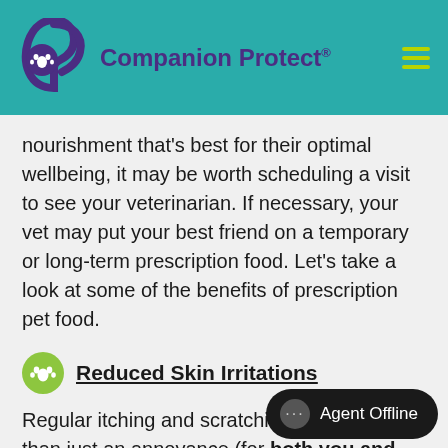Companion Protect®
nourishment that's best for their optimal wellbeing, it may be worth scheduling a visit to see your veterinarian. If necessary, your vet may put your best friend on a temporary or long-term prescription food. Let's take a look at some of the benefits of prescription pet food.
Reduced Skin Irritations
Regular itching and scratching can be more than just an annoyance (for both you and your pet). Over time, itchy skin ca... likely it's recommended that the irritation and...